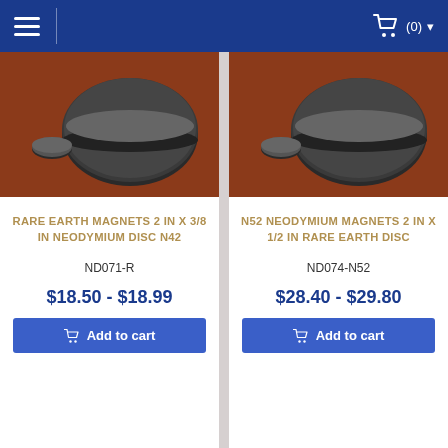Navigation bar with hamburger menu and cart icon showing (0) items
[Figure (photo): Neodymium disc magnet on brownish-red background with small magnet beside it — product image for Rare Earth Magnets 2 IN x 3/8 IN Neodymium Disc N42]
RARE EARTH MAGNETS 2 IN X 3/8 IN NEODYMIUM DISC N42
ND071-R
$18.50 - $18.99
Add to cart
[Figure (photo): Neodymium disc magnet on brownish-red background with small magnet beside it — product image for N52 Neodymium Magnets 2 IN x 1/2 IN Rare Earth Disc]
N52 NEODYMIUM MAGNETS 2 IN X 1/2 IN RARE EARTH DISC
ND074-N52
$28.40 - $29.80
Add to cart